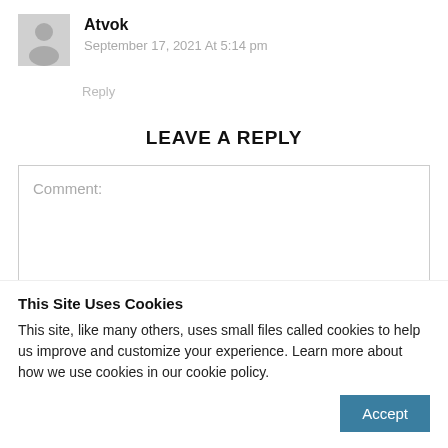[Figure (illustration): Default avatar silhouette icon, gray background]
Atvok
September 17, 2021 At 5:14 pm
Reply
LEAVE A REPLY
Comment:
This Site Uses Cookies
This site, like many others, uses small files called cookies to help us improve and customize your experience. Learn more about how we use cookies in our cookie policy.
Accept